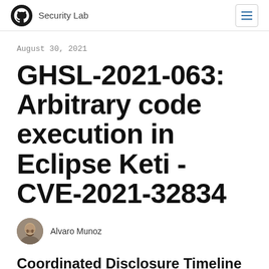Security Lab
August 30, 2021
GHSL-2021-063: Arbitrary code execution in Eclipse Keti - CVE-2021-32834
Alvaro Munoz
Coordinated Disclosure Timeline